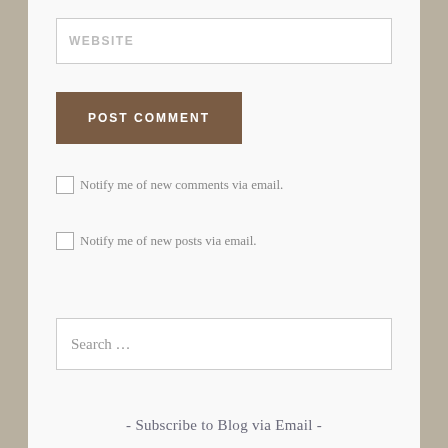WEBSITE
POST COMMENT
Notify me of new comments via email.
Notify me of new posts via email.
Search …
- Subscribe to Blog via Email -